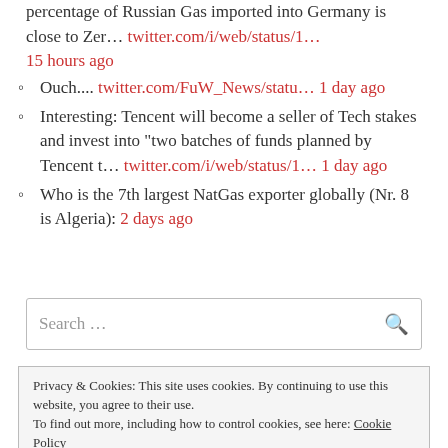percentage of Russian Gas imported into Germany is close to Zer… twitter.com/i/web/status/1… 15 hours ago
Ouch.... twitter.com/FuW_News/statu… 1 day ago
Interesting: Tencent will become a seller of Tech stakes and invest into "two batches of funds planned by Tencent t… twitter.com/i/web/status/1… 1 day ago
Who is the 7th largest NatGas exporter globally (Nr. 8 is Algeria): 2 days ago
Search …
Privacy & Cookies: This site uses cookies. By continuing to use this website, you agree to their use. To find out more, including how to control cookies, see here: Cookie Policy
Close and accept
Email Address